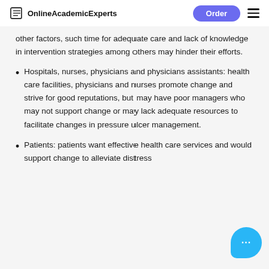OnlineAcademicExperts | Order
other factors, such time for adequate care and lack of knowledge in intervention strategies among others may hinder their efforts.
Hospitals, nurses, physicians and physicians assistants: health care facilities, physicians and nurses promote change and strive for good reputations, but may have poor managers who may not support change or may lack adequate resources to facilitate changes in pressure ulcer management.
Patients: patients want effective health care services and would support change to alleviate distress